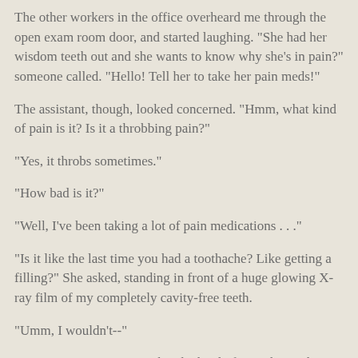The other workers in the office overheard me through the open exam room door, and started laughing. "She had her wisdom teeth out and she wants to know why she's in pain?" someone called. "Hello! Tell her to take her pain meds!"
The assistant, though, looked concerned. "Hmm, what kind of pain is it? Is it a throbbing pain?"
"Yes, it throbs sometimes."
"How bad is it?"
"Well, I've been taking a lot of pain medications . . ."
"Is it like the last time you had a toothache? Like getting a filling?" She asked, standing in front of a huge glowing X-ray film of my completely cavity-free teeth.
"Umm, I wouldn't--"
"Is it a screaming pain? Like, the kind of pain that makes you want to scream at your husband?"